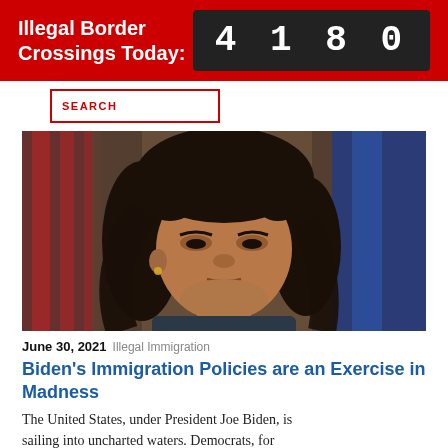Illegal Border Crossings Today: 4180
SEARCH
[Figure (photo): Close-up photo of a woman (Kamala Harris) in front of blurred American flags]
June 30, 2021 Illegal Immigration
Biden's Immigration Policies are an Exercise in Madness
The United States, under President Joe Biden, is sailing into uncharted waters. Democrats, for